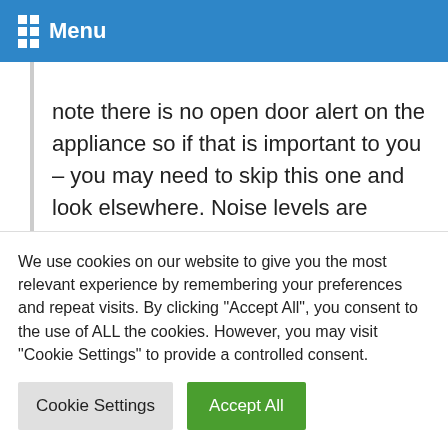Menu
note there is no open door alert on the appliance so if that is important to you – you may need to skip this one and look elsewhere. Noise levels are standard at 42 dB(A), the energy usage per year is higher at 249 kWh/year and you get 16 hours of safe food storage in the event of any power loss failures in your home.
We use cookies on our website to give you the most relevant experience by remembering your preferences and repeat visits. By clicking "Accept All", you consent to the use of ALL the cookies. However, you may visit "Cookie Settings" to provide a controlled consent.